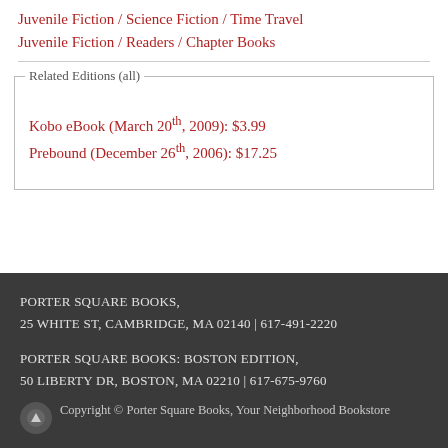Juvenile Fiction / Science Fiction / Time Travel
Juvenile Fiction / Readers / Chapter Books
Related Editions (all)
Kobo eBook (March 20th, 2009): $3.99
Prebound (December 26th, 2006): $17.25
PORTER SQUARE BOOKS, 25 WHITE ST, CAMBRIDGE, MA 02140 | 617-491-2220
PORTER SQUARE BOOKS: BOSTON EDITION, 50 LIBERTY DR, BOSTON, MA 02210 | 617-675-9760
Copyright © Porter Square Books, Your Neighborhood Bookstore